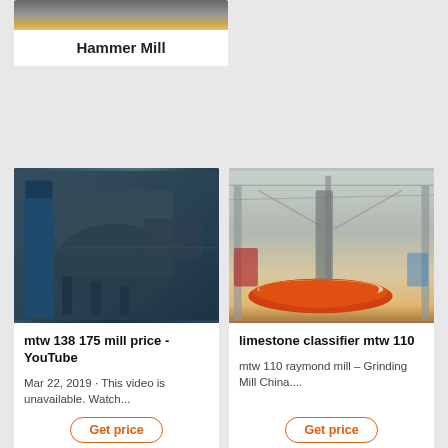[Figure (photo): Industrial hammer mill machinery photo (partially visible at top)]
Hammer Mill
[Figure (photo): Industrial grinding mill equipment - mtw 138 175 mill - dark blue industrial machinery in a factory]
mtw 138 175 mill price - YouTube
Mar 22, 2019 · This video is unavailable. Watch...
[Figure (photo): Limestone classifier mtw 110 - large industrial hall with red circular grinding mill pan]
limestone classifier mtw 110
mtw 110 raymond mill – Grinding Mill China....